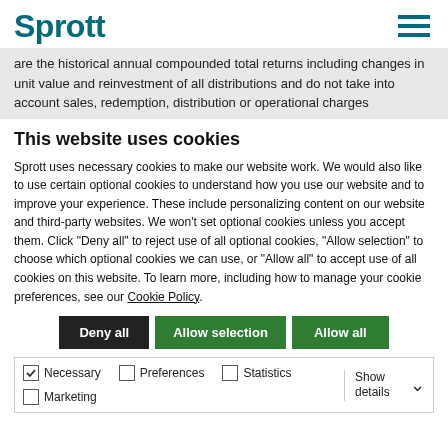Sprott
are the historical annual compounded total returns including changes in unit value and reinvestment of all distributions and do not take into account sales, redemption, distribution or operational charges
This website uses cookies
Sprott uses necessary cookies to make our website work. We would also like to use certain optional cookies to understand how you use our website and to improve your experience. These include personalizing content on our website and third-party websites. We won't set optional cookies unless you accept them. Click "Deny all" to reject use of all optional cookies, "Allow selection" to choose which optional cookies we can use, or "Allow all" to accept use of all cookies on this website. To learn more, including how to manage your cookie preferences, see our Cookie Policy.
Deny all | Allow selection | Allow all
Necessary | Preferences | Statistics | Marketing | Show details